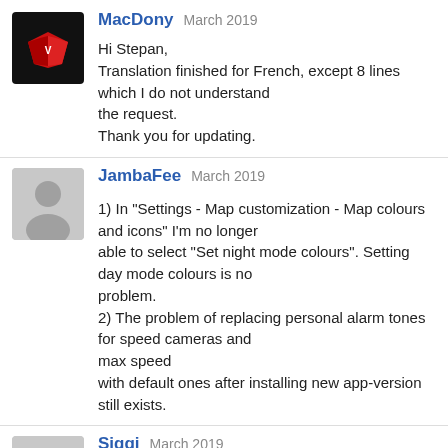MacDony  March 2019
Hi Stepan,
Translation finished for French, except 8 lines which I do not understand the request.
Thank you for updating.
JambaFee  March 2019
1) In "Settings - Map customization - Map colours and icons" I'm no longer able to select "Set night mode colours". Setting day mode colours is no problem.
2) The problem of replacing personal alarm tones for speed cameras and max speed
with default ones after installing new app-version still exists.
Siggi  March 2019
When I Change to "buy Maps" I cannot return to the main-menu,
App freezing with blue/green Screen

and my purchased "Megapack" in Verson 5.0 is not aktualized,